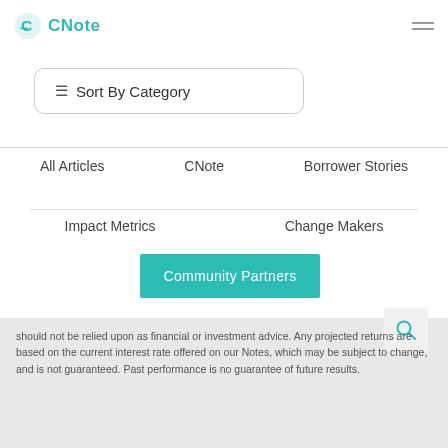CNote
Sort By Category
All Articles
CNote
Borrower Stories
Impact Metrics
Change Makers
Community Partners
should not be relied upon as financial or investment advice. Any projected returns are based on the current interest rate offered on our Notes, which may be subject to change, and is not guaranteed. Past performance is no guarantee of future results.